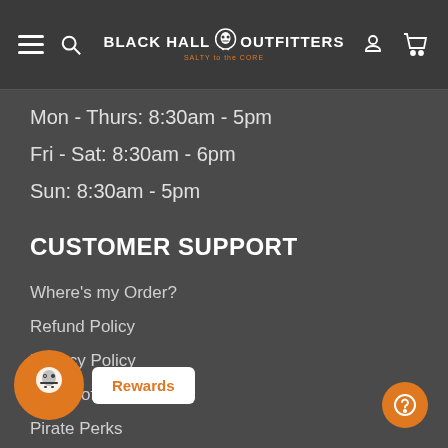Black Hall Outfitters
Mon - Thurs: 8:30am - 5pm
Fri - Sat: 8:30am - 6pm
Sun: 8:30am - 5pm
CUSTOMER SUPPORT
Where's my Order?
Refund Policy
Privacy Policy
Terms of Service
Pirate Perks
Contact Us
Do not sell my personal information